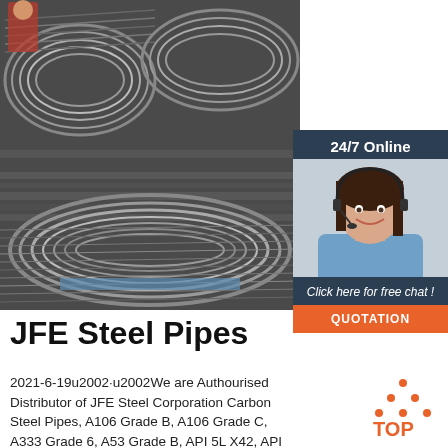[Figure (photo): Large coils of steel wire rods stacked in an industrial warehouse setting. A worker in red jacket is partially visible in background.]
[Figure (photo): Customer service agent (woman with headset, smiling) with '24/7 Online' header, 'Click here for free chat!' text, and orange QUOTATION button, on dark blue sidebar panel.]
JFE Steel Pipes
2021-6-19u2002·u2002We are Authourised Distributor of JFE Steel Corporation Carbon Steel Pipes, A106 Grade B, A106 Grade C, A333 Grade 6, A53 Grade B, API 5L X42, API 5L X46, API 5L X52, API 5L X56, API 5L X60, API 5L X65 PSL1
[Figure (logo): TOP logo in orange with dot pattern]